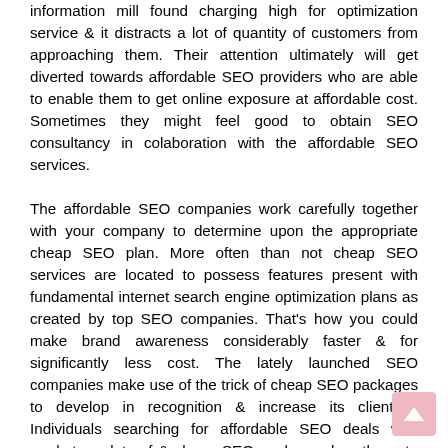information mill found charging high for optimization service & it distracts a lot of quantity of customers from approaching them. Their attention ultimately will get diverted towards affordable SEO providers who are able to enable them to get online exposure at affordable cost. Sometimes they might feel good to obtain SEO consultancy in colaboration with the affordable SEO services.
The affordable SEO companies work carefully together with your company to determine upon the appropriate cheap SEO plan. More often than not cheap SEO services are located to possess features present with fundamental internet search engine optimization plans as created by top SEO companies. That's how you could make brand awareness considerably faster & for significantly less cost. The lately launched SEO companies make use of the trick of cheap SEO packages to develop in recognition & increase its clientele. Individuals searching for affordable SEO deals with market are lots of & cheap SEO packages lure these to an excellent extent. The grade of SEO services supplied by affordable SEO companies